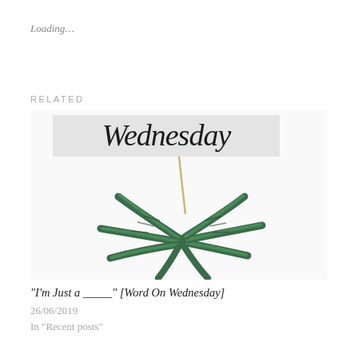Loading...
RELATED
[Figure (photo): Blog post thumbnail showing the word 'Wednesday' in large serif italic font against a light grey background, with a haworthia/aloe succulent plant with a tall central spike photographed from above against a white background below.]
“I’m Just a _____” [Word On Wednesday]
26/06/2019
In “Recent posts”